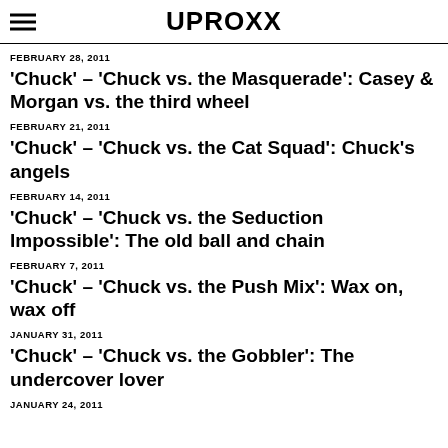UPROXX
FEBRUARY 28, 2011
'Chuck' – 'Chuck vs. the Masquerade': Casey & Morgan vs. the third wheel
FEBRUARY 21, 2011
'Chuck' – 'Chuck vs. the Cat Squad': Chuck's angels
FEBRUARY 14, 2011
'Chuck' – 'Chuck vs. the Seduction Impossible': The old ball and chain
FEBRUARY 7, 2011
'Chuck' – 'Chuck vs. the Push Mix': Wax on, wax off
JANUARY 31, 2011
'Chuck' – 'Chuck vs. the Gobbler': The undercover lover
JANUARY 24, 2011